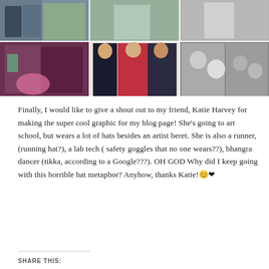[Figure (photo): A collage of group photos of people: top row shows three panels with people outdoors and in casual settings; bottom row shows three panels including a selfie group, women posing formally, and black-and-white photos of people smiling.]
Finally, I would like to give a shout out to my friend, Katie Harvey for making the super cool graphic for my blog page! She's going to art school, but wears a lot of hats besides an artist beret. She is also a runner, (running hat?), a lab tech ( safety goggles that no one wears??), bhangra dancer (tikka, according to a Google???). OH GOD Why did I keep going with this horrible hat metaphor? Anyhow, thanks Katie!😊❤
SHARE THIS: